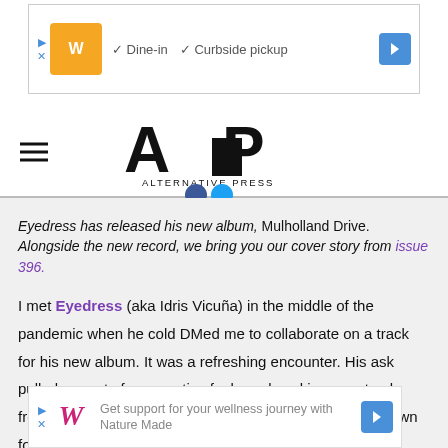[Figure (screenshot): Advertisement banner: Walgreens logo with 'Dine-in' and 'Curbside pickup' checkmarks and a blue navigation arrow]
[Figure (logo): Alternative Press (AP) logo in bold black stylized lettering with 'ALTERNATIVE PRESS' text below]
Eyedress has released his new album, Mulholland Drive. Alongside the new record, we bring you our cover story from issue 396.
I met Eyedress (aka Idris Vicuña) in the middle of the pandemic when he cold DMed me to collaborate on a track for his new album. It was a refreshing encounter. His ask pulled me out of my creative funk, and working on a track from afar with a new homie was exciting. After all, he's down for anything... a relaxed
[Figure (screenshot): Advertisement banner: Walgreens logo with text 'Get support for your wellness journey with Nature Made' and a blue navigation arrow]